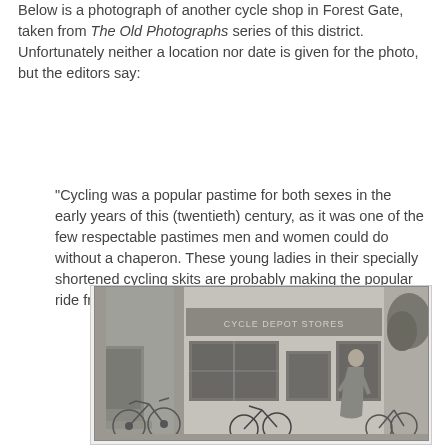Below is a photograph of another cycle shop in Forest Gate, taken from The Old Photographs series of this district. Unfortunately neither a location nor date is given for the photo, but the editors say:
"Cycling was a popular pastime for both sexes in the early years of this (twentieth) century, as it was one of the few respectable pastimes men and women could do without a chaperon. These young ladies in their specially shortened cycling skits are probably making the popular ride from Forest Gate to Epping."
[Figure (photo): Black and white historical photograph of a cycle depot/stores shopfront, with bicycles parked outside and a woman standing near the right side of the building. A sign reading 'CYCLE DEPOT STORES' is visible above the shop entrance.]